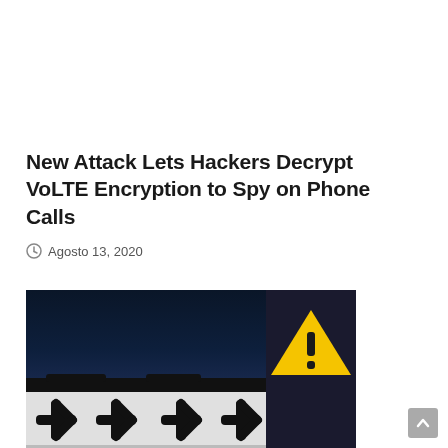New Attack Lets Hackers Decrypt VoLTE Encryption to Spy on Phone Calls
Agosto 13, 2020
[Figure (illustration): Dark navy blue background with a stylized laptop/keyboard showing asterisk password symbols and a yellow warning triangle sign, suggesting a cybersecurity threat illustration]